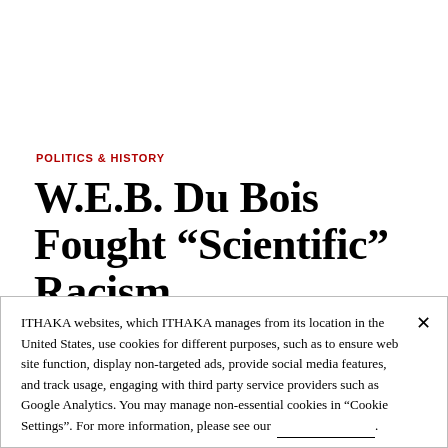POLITICS & HISTORY
W.E.B. Du Bois Fought “Scientific” Racism
Early 20th century intellectual W.E.B. DuBois
ITHAKA websites, which ITHAKA manages from its location in the United States, use cookies for different purposes, such as to ensure web site function, display non-targeted ads, provide social media features, and track usage, engaging with third party service providers such as Google Analytics. You may manage non-essential cookies in “Cookie Settings”. For more information, please see our ____________.